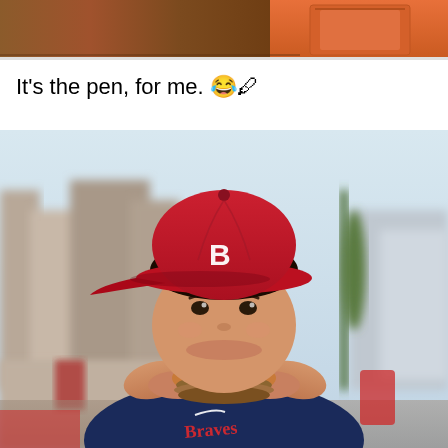[Figure (photo): Partial view of a person wearing an orange/red outfit, cropped at the top of the page]
It's the pen, for me. 😂🖊
[Figure (photo): A young boy wearing a red baseball cap with letter B and a navy blue Braves jersey, eating a large burger outdoors on a sunny day with a blurred street background]